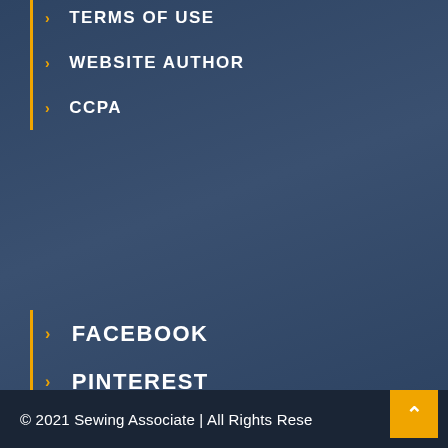TERMS OF USE
WEBSITE AUTHOR
CCPA
FACEBOOK
PINTEREST
YOUTUBE
LINKEDIN
REDDIT
© 2021 Sewing Associate | All Rights Reserved